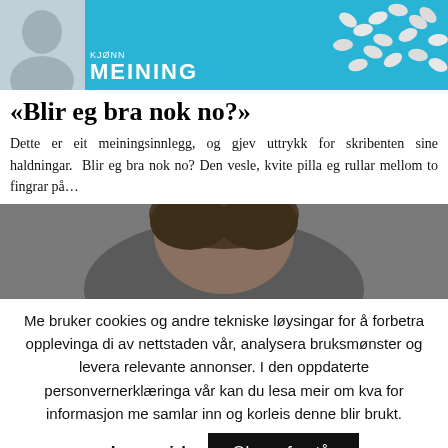[Figure (photo): Article header image: person thumbnail on left, scattered white pills on blue background, MEINING label overlay]
«Blir eg bra nok no?»
Dette er eit meiningsinnlegg, og gjev uttrykk for skribenten sine haldningar. Blir eg bra nok no? Den vesle, kvite pilla eg rullar mellom to fingrar på…
[Figure (photo): Close-up photo of a person's head with dark hair, outdoors urban background]
Me bruker cookies og andre tekniske løysingar for å forbetra opplevinga di av nettstaden vår, analysera bruksmønster og levera relevante annonser. I den oppdaterte personvernerklæringa vår kan du lesa meir om kva for informasjon me samlar inn og korleis denne blir brukt.
Les meir!    Ok, eg forstår